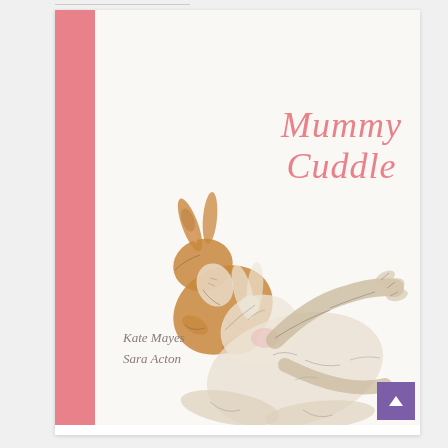[Figure (illustration): Book cover of 'Mummy Cuddle' by Kate Mayes and Sara Acton. Features a watercolor-style illustration of two rabbits (a small brown baby rabbit and a larger white/cream mother rabbit) cuddling together. A pink vertical stripe runs along the left spine of the cover. The title 'Mummy Cuddle' appears in pink italic serif text on the upper right. Author names 'Kate Mayes' and 'Sara Acton' appear in gray italic text at the lower left.]